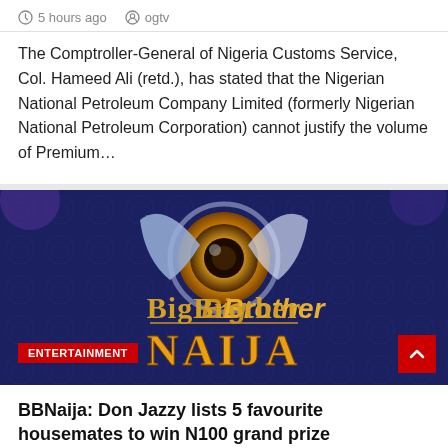5 hours ago   ogtv
The Comptroller-General of Nigeria Customs Service, Col. Hameed Ali (retd.), has stated that the Nigerian National Petroleum Company Limited (formerly Nigerian National Petroleum Corporation) cannot justify the volume of Premium…
[Figure (photo): Big Brother Naija logo on a dark blue decorative background with an eye-shaped emblem in gold and silver tones. Text reads BigBrother Naija. An ENTERTAINMENT tag is shown at the bottom left and a red scroll-up button at bottom right.]
BBNaija: Don Jazzy lists 5 favourite housemates to win N100 grand prize